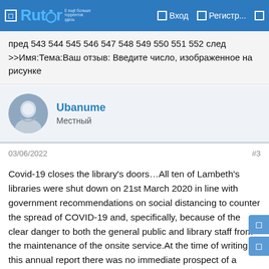Rutor | Вход | Регистр...
пред 543 544 545 546 547 548 549 550 551 552 след >>Имя:Тема:Ваш отзыв: Введите число, изображенное на рисунке
Ubanume
Местный
03/06/2022	#3
Covid-19 closes the library's doors…All ten of Lambeth's libraries were shut down on 21st March 2020 in line with government recommendations on social distancing to counter the spread of COVID-19 and, specifically, because of the clear danger to both the general public and library staff from the maintenance of the onsite service.At the time of writing this annual report there was no immediate prospect of a resumption of all core services to the general public. The Friends of Tate South Lambeth Library look forward to our much loved and valued local library re-opening its doors once the epidemic has